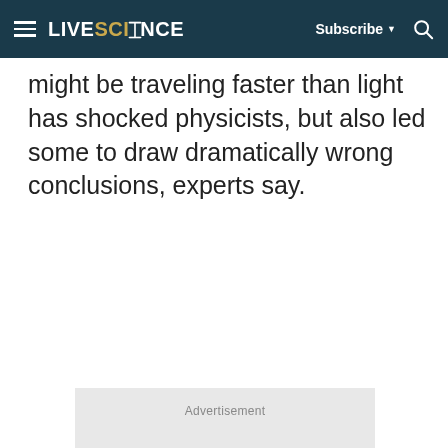LIVESCIENCE | Subscribe | Search
might be traveling faster than light has shocked physicists, but also led some to draw dramatically wrong conclusions, experts say.
[Figure (other): Advertisement placeholder box with gray background and 'Advertisement' label at top center]